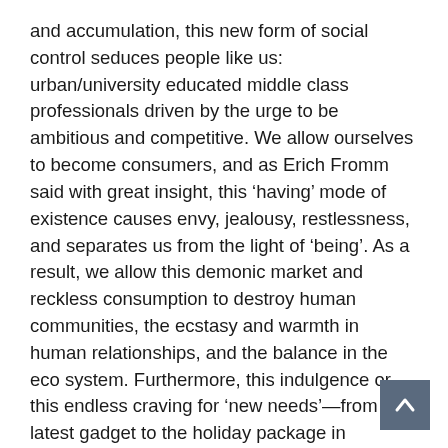and accumulation, this new form of social control seduces people like us: urban/university educated middle class professionals driven by the urge to be ambitious and competitive. We allow ourselves to become consumers, and as Erich Fromm said with great insight, this ‘having’ mode of existence causes envy, jealousy, restlessness, and separates us from the light of ‘being’. As a result, we allow this demonic market and reckless consumption to destroy human communities, the ecstasy and warmth in human relationships, and the balance in the eco system. Furthermore, this indulgence or this endless craving for ‘new needs’—from the latest gadget to the holiday package in Switzerland—makes us completely incapable of creative and critical thinking. No wonder, people like us get carried away by the ‘spectacles’—inflated growth rate, military parade, shiny malls and the Bollywood stuff of the Karan Johar variety.